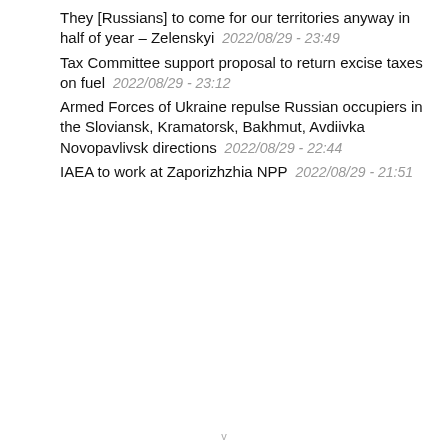They [Russians] to come for our territories anyway in half of year – Zelenskyi  2022/08/29 - 23:49
Tax Committee support proposal to return excise taxes on fuel  2022/08/29 - 23:12
Armed Forces of Ukraine repulse Russian occupiers in the Sloviansk, Kramatorsk, Bakhmut, Avdiivka Novopavlivsk directions  2022/08/29 - 22:44
IAEA to work at Zaporizhzhia NPP  2022/08/29 - 21:51
v